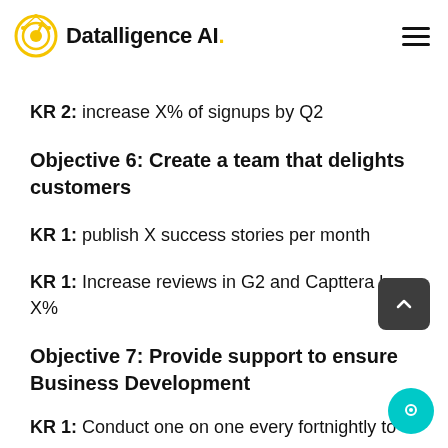Datalligence AI.
KR 2: increase X% of signups by Q2
Objective 6: Create a team that delights customers
KR 1: publish X success stories per month
KR 1: Increase reviews in G2 and Capttera by X%
Objective 7: Provide support to ensure Business Development
KR 1: Conduct one on one every fortnightly to